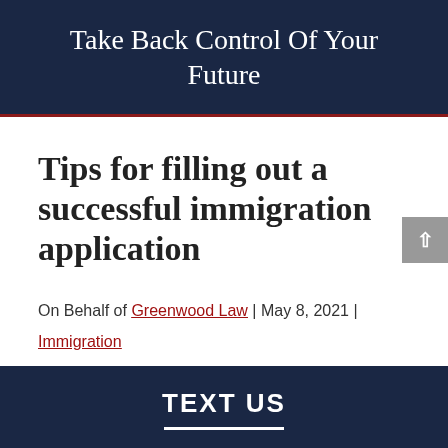Take Back Control Of Your Future
Tips for filling out a successful immigration application
On Behalf of Greenwood Law | May 8, 2021 |
Immigration
TEXT US